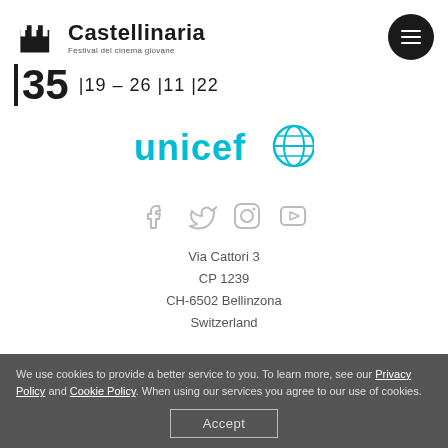[Figure (logo): Castellinaria Festival del cinema giovane logo with castle icon]
[Figure (logo): Black circular hamburger menu button]
|35 |19 – 26 |11 |22
[Figure (logo): UNICEF logo in cyan/teal color with globe icon]
[Figure (infographic): Social media icons: Facebook, Twitter, Instagram, YouTube - in light grey]
Via Cattori 3
CP 1239
CH-6502 Bellinzona
Switzerland
We use cookies to provide a better service to you. To learn more, see our Privacy Policy and Cookie Policy. When using our services you agree to our use of cookies.
Accept